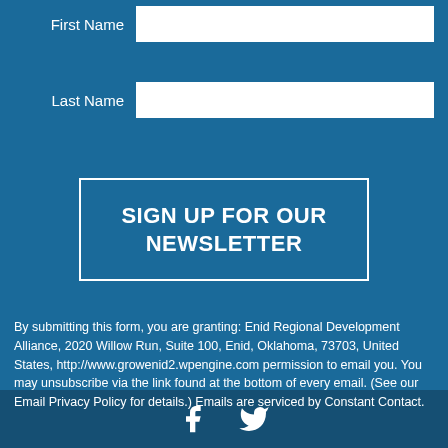First Name
Last Name
SIGN UP FOR OUR NEWSLETTER
By submitting this form, you are granting: Enid Regional Development Alliance, 2020 Willow Run, Suite 100, Enid, Oklahoma, 73703, United States, http://www.growenid2.wpengine.com permission to email you. You may unsubscribe via the link found at the bottom of every email. (See our Email Privacy Policy for details.) Emails are serviced by Constant Contact.
[Figure (illustration): Facebook and Twitter social media icons in white on dark blue footer background]